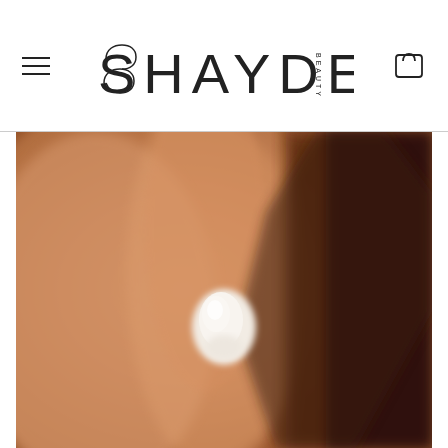SHAYDE BEAUTY — navigation header with hamburger menu and cart icon
[Figure (photo): Close-up blurred photo of a skin-toned arm or leg with a small dollop of white cream or lotion product placed on the skin, against a dark blurred background.]